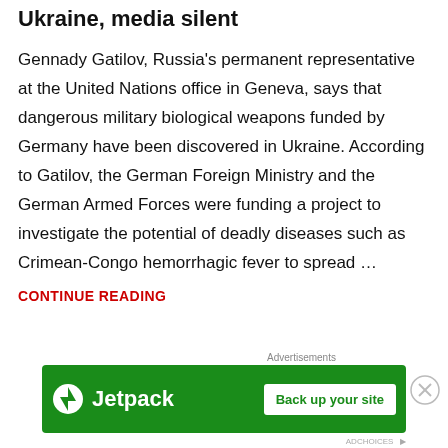Ukraine, media silent
Gennady Gatilov, Russia's permanent representative at the United Nations office in Geneva, says that dangerous military biological weapons funded by Germany have been discovered in Ukraine. According to Gatilov, the German Foreign Ministry and the German Armed Forces were funding a project to investigate the potential of deadly diseases such as Crimean-Congo hemorrhagic fever to spread …
CONTINUE READING
Advertisements
[Figure (other): Jetpack advertisement banner with green background showing Jetpack logo and 'Back up your site' button]